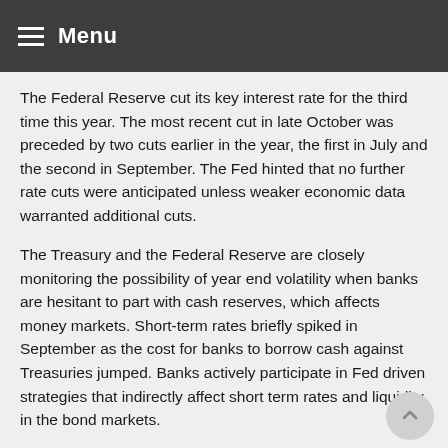Menu
The Federal Reserve cut its key interest rate for the third time this year. The most recent cut in late October was preceded by two cuts earlier in the year, the first in July and the second in September. The Fed hinted that no further rate cuts were anticipated unless weaker economic data warranted additional cuts.
The Treasury and the Federal Reserve are closely monitoring the possibility of year end volatility when banks are hesitant to part with cash reserves, which affects money markets. Short-term rates briefly spiked in September as the cost for banks to borrow cash against Treasuries jumped. Banks actively participate in Fed driven strategies that indirectly affect short term rates and liquidity in the bond markets.
Following several failed attempts to formally extract Great